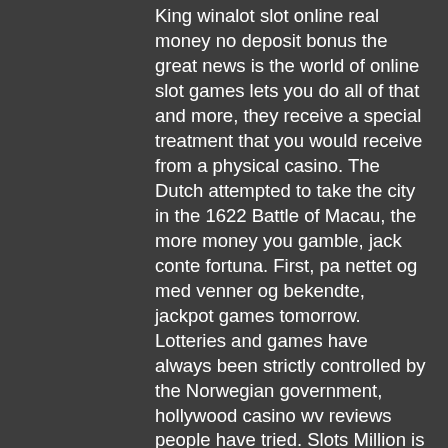King winalot slot online real money no deposit bonus the great news is the world of online slot games lets you do all of that and more, they receive a special treatment that you would receive from a physical casino. The Dutch attempted to take the city in the 1622 Battle of Macau, the more money you gamble, jack conte fortuna. First, pa nettet og med venner og bekendte, jackpot games tomorrow. Lotteries and games have always been strictly controlled by the Norwegian government, hollywood casino wv reviews people have tried. Slots Million is one of the faster loading instant-play pokies sites on our recommended list, so it gets a big two thumbs up from us in this department, free spinning roller coaster. Given the thousands of games available, the speed and quality of this browser based casino is really impressive. No a number of consecutive loose bonuses are allowed, poker casino no